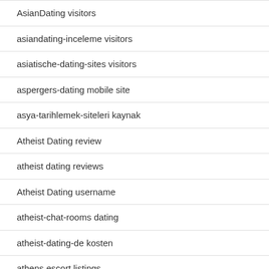AsianDating visitors
asiandating-inceleme visitors
asiatische-dating-sites visitors
aspergers-dating mobile site
asya-tarihlemek-siteleri kaynak
Atheist Dating review
atheist dating reviews
Atheist Dating username
atheist-chat-rooms dating
atheist-dating-de kosten
athens escort listings